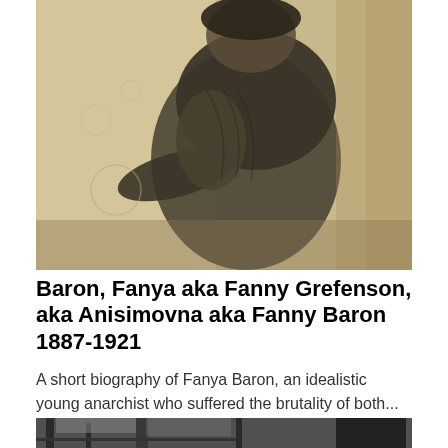[Figure (photo): Sepia-toned historical portrait photograph of Fanya Baron, shown from the side/back at a three-quarter angle, wearing a period dress with puffed sleeves, against a light background.]
Baron, Fanya aka Fanny Grefenson, aka Anisimovna aka Fanny Baron 1887-1921
A short biography of Fanya Baron, an idealistic young anarchist who suffered the brutality of both...
[Figure (photo): Black and white photograph showing industrial or construction scene, partially visible at the bottom of the page.]